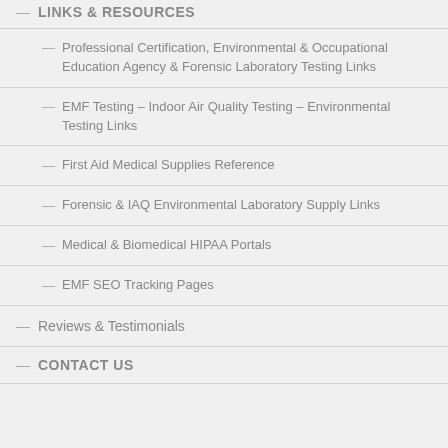— LINKS & RESOURCES
— Professional Certification, Environmental & Occupational Education Agency & Forensic Laboratory Testing Links
— EMF Testing – Indoor Air Quality Testing – Environmental Testing Links
— First Aid Medical Supplies Reference
— Forensic & IAQ Environmental Laboratory Supply Links
— Medical & Biomedical HIPAA Portals
— EMF SEO Tracking Pages
— Reviews & Testimonials
— CONTACT US